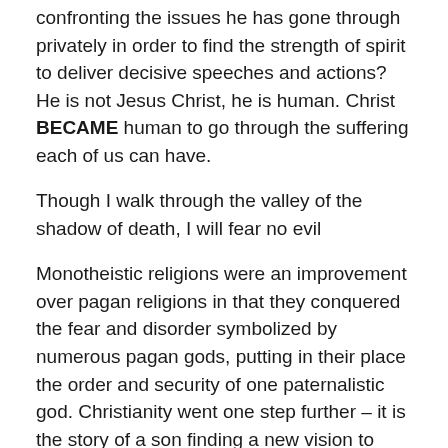confronting the issues he has gone through privately in order to find the strength of spirit to deliver decisive speeches and actions? He is not Jesus Christ, he is human. Christ BECAME human to go through the suffering each of us can have.
Though I walk through the valley of the shadow of death, I will fear no evil
Monotheistic religions were an improvement over pagan religions in that they conquered the fear and disorder symbolized by numerous pagan gods, putting in their place the order and security of one paternalistic god. Christianity went one step further – it is the story of a son finding a new vision to build upon that of his father, finding strength, maturity and independence. It is a success story.